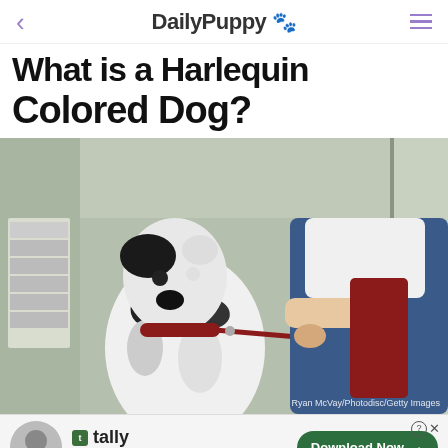DailyPuppy 🐾
What is a Harlequin Colored Dog?
[Figure (photo): A harlequin Great Dane dog with white coat and black patches, wearing a red collar and leash, standing next to a person in denim overalls and white shirt outside a building. Photo credit: Ryan McVay/Photodisc/Getty Images]
[Figure (other): Advertisement banner for Tally app: Fast credit card payoff. Download Now button. Shows a person avatar on the left.]